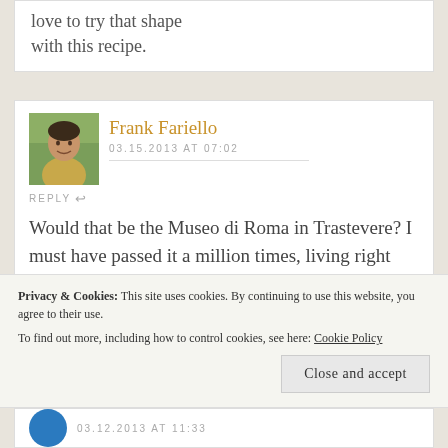love to try that shape with this recipe.
Frank Fariello
03.15.2013 AT 07:02
REPLY
Would that be the Museo di Roma in Trastevere? I must have passed it a million times, living right across the river, but believe it or not, I never
Privacy & Cookies: This site uses cookies. By continuing to use this website, you agree to their use. To find out more, including how to control cookies, see here: Cookie Policy
Close and accept
03.12.2013 AT 11:33